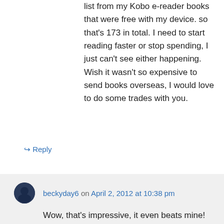list from my Kobo e-reader books that were free with my device. so that's 173 in total. I need to start reading faster or stop spending, I just can't see either happening. Wish it wasn't so expensive to send books overseas, I would love to do some trades with you.
↳ Reply
beckyday6 on April 2, 2012 at 10:38 pm
Wow, that's impressive, it even beats mine! That seems to be the problem with e-readers, there are so many free books avaliable that it's really easy to accumilate a big tbr pile….wait….what am I talking about? Reading is never a problem, and